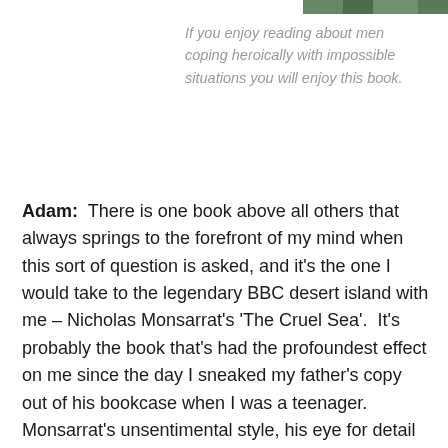[Figure (photo): Partial image visible at top right of page, appears to be a nature or landscape photo with green tones]
If you enjoy reading about men coping heroically with impossible situations you will enjoy this book.
Adam:  There is one book above all others that always springs to the forefront of my mind when this sort of question is asked, and it's the one I would take to the legendary BBC desert island with me – Nicholas Monsarrat's 'The Cruel Sea'.  It's probably the book that's had the profoundest effect on me since the day I sneaked my father's copy out of his bookcase when I was a teenager.  Monsarrat's unsentimental style, his eye for detail and his characters – together with the overwhelming conviction that he has been in these places and seen these things for himself – combine to produce not only a